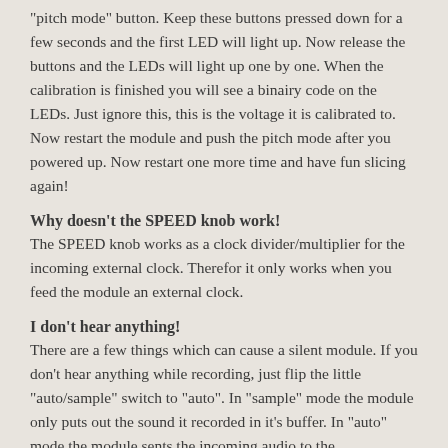"pitch mode" button. Keep these buttons pressed down for a few seconds and the first LED will light up. Now release the buttons and the LEDs will light up one by one. When the calibration is finished you will see a binairy code on the LEDs. Just ignore this, this is the voltage it is calibrated to. Now restart the module and push the pitch mode after you powered up. Now restart one more time and have fun slicing again!
Why doesn't the SPEED knob work!
The SPEED knob works as a clock divider/multiplier for the incoming external clock. Therefor it only works when you feed the module an external clock.
I don't hear anything!
There are a few things which can cause a silent module. If you don't hear anything while recording, just flip the little "auto/sample" switch to "auto". In "sample" mode the module only puts out the sound it recorded in it's buffer. In "auto" mode the module sents the incoming audio to the